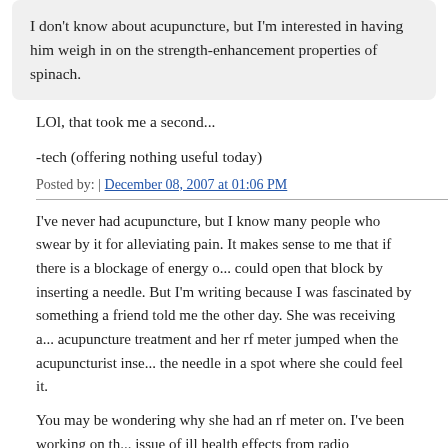I don't know about acupuncture, but I'm interested in having him weigh in on the strength-enhancement properties of spinach.
LOl, that took me a second...
-tech (offering nothing useful today)
Posted by: | December 08, 2007 at 01:06 PM
I've never had acupuncture, but I know many people who swear by it for alleviating pain. It makes sense to me that if there is a blockage of energy one could open that block by inserting a needle. But I'm writing because I was fascinated by something a friend told me the other day. She was receiving an acupuncture treatment and her rf meter jumped when the acupuncturist inserted the needle in a spot where she could feel it.
You may be wondering why she had an rf meter on. I've been working on the issue of ill health effects from radio frequency waves from wireless devices such as cell phones and wifi. This woman, as I do, believes she is sensitive to the electromagnetic radiation emitted from the devices.
When she told me about her meter spiking when she felt the needle it got m...